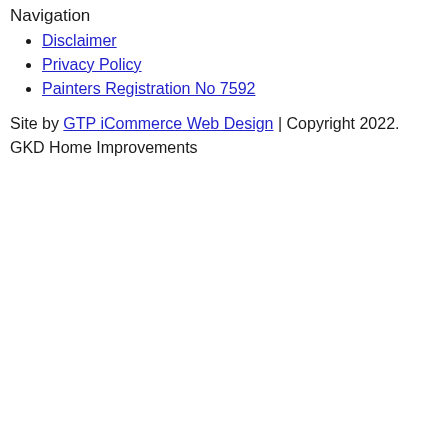Navigation
Disclaimer
Privacy Policy
Painters Registration No 7592
Site by GTP iCommerce Web Design | Copyright 2022. GKD Home Improvements